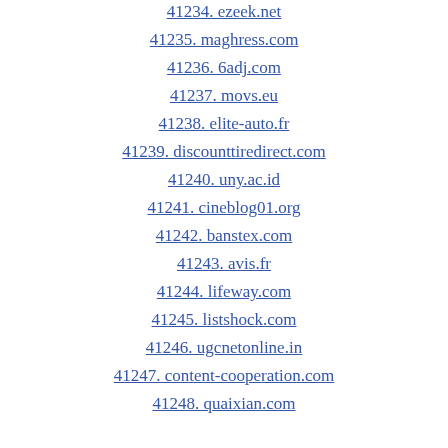41234. ezeek.net
41235. maghress.com
41236. 6adj.com
41237. movs.eu
41238. elite-auto.fr
41239. discounttiredirect.com
41240. uny.ac.id
41241. cineblog01.org
41242. banstex.com
41243. avis.fr
41244. lifeway.com
41245. listshock.com
41246. ugcnetonline.in
41247. content-cooperation.com
41248. quaixian.com